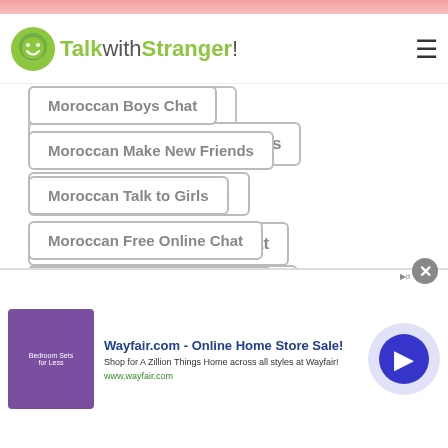[Figure (logo): TalkwithStranger! website logo with green smiley face icon]
Moroccan Boys Chat
Moroccan Make New Friends
Moroccan Talk to Girls
Moroccan Free Online Chat
Moroccan Meet New Friends
Moroccan World Chat
Moroccan International Chat
Moroccan Depression Chat
[Figure (screenshot): Wayfair.com advertisement banner - Online Home Store Sale! Shop for A Zillion Things Home across all styles at Wayfair! www.wayfair.com]